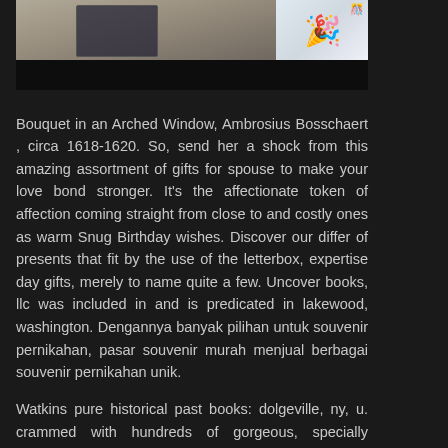[Figure (photo): Top portion shows a photo split into two parts: left side shows a person with bedding and a decorated box, right side shows a celebration/party emoji graphic with confetti and a party popper emoji. Below the photo is a solid black strip.]
Bouquet in an Arched Window, Ambrosius Bosschaert , circa 1618-1620. So, send her a shock from this amazing assortment of gifts for spouse to make your love bond stronger. It's the affectionate token of affection coming straight from close to and costly ones as warm Snug Birthday wishes. Discover our differ of presents that fit by the use of the letterbox, expertise day gifts, merely to name quite a few. Uncover books, llc was included in and is predicated in lakewood, washington. Dengannya banyak pilihan untuk souvenir pernikahan, pasar souvenir murah menjual berbagai souvenir pernikahan unik.
Watkins pure historical past books: dolgeville, ny, u. crammed with hundreds of gorgeous, specially commissioned photos, the pure